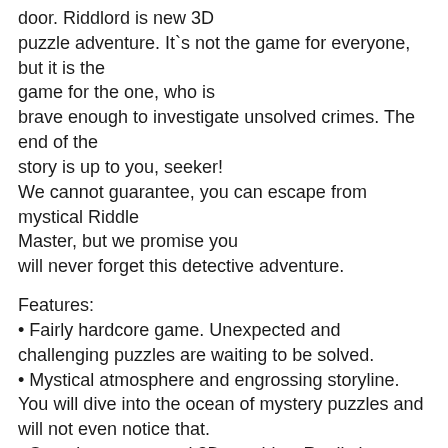door. Riddlord is new 3D puzzle adventure. It`s not the game for everyone, but it is the game for the one, who is brave enough to investigate unsolved crimes. The end of the story is up to you, seeker! We cannot guarantee, you can escape from mystical Riddle Master, but we promise you will never forget this detective adventure.
Features:
• Fairly hardcore game. Unexpected and challenging puzzles are waiting to be solved.
• Mystical atmosphere and engrossing storyline. You will dive into the ocean of mystery puzzles and will not even notice that.
• Stunning conceptual 3D graphics. Realistic visuals, lights, shadows - we wrote music for your eyes. Just enjoy!
• Intuitive touch controls. Point and click. What can be easier? Nothing.
• Beautiful music. Turn it on and dive deep into the mystery. Headphones are recommended.
• Easter eggs